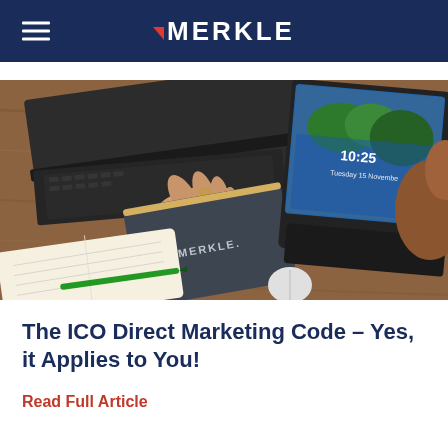MERKLE
[Figure (photo): Photo of a desk with laptops, a Merkle-branded notebook, an open notebook with a green pen, and a person's hand visible. A tablet shows a landscape screensaver with time 10:25.]
The ICO Direct Marketing Code – Yes, it Applies to You!
Read Full Article